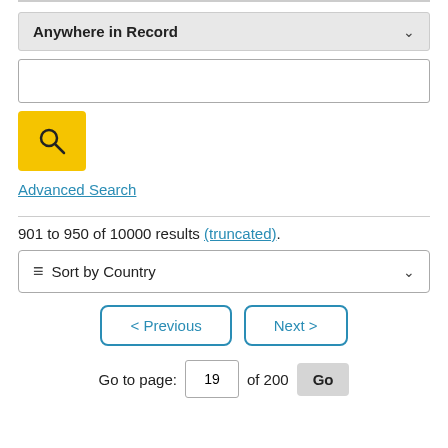Anywhere in Record
Advanced Search
901 to 950 of 10000 results (truncated).
Sort by Country
< Previous
Next >
Go to page: 19 of 200 Go